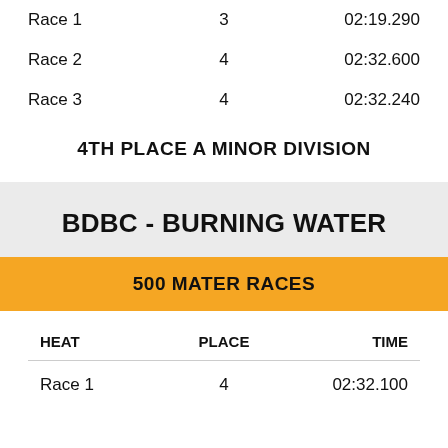|  |  |  |
| --- | --- | --- |
| Race 1 | 3 | 02:19.290 |
| Race 2 | 4 | 02:32.600 |
| Race 3 | 4 | 02:32.240 |
4TH PLACE A MINOR DIVISION
BDBC - BURNING WATER
500 MATER RACES
| HEAT | PLACE | TIME |
| --- | --- | --- |
| Race 1 | 4 | 02:32.100 |